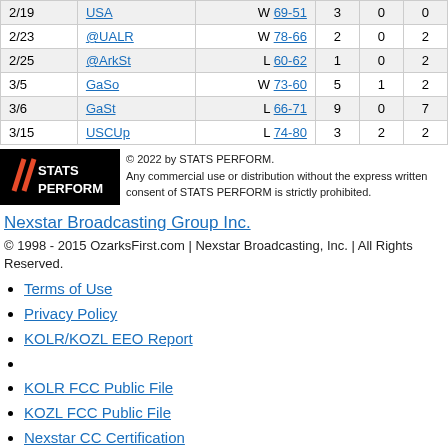| Date | Opponent | Result | Col4 | Col5 | Col6 |
| --- | --- | --- | --- | --- | --- |
| 2/19 | USA | W 69-51 | 3 | 0 | 0 |
| 2/23 | @UALR | W 78-66 | 2 | 0 | 2 |
| 2/25 | @ArkSt | L 60-62 | 1 | 0 | 2 |
| 3/5 | GaSo | W 73-60 | 5 | 1 | 2 |
| 3/6 | GaSt | L 66-71 | 9 | 0 | 7 |
| 3/15 | USCUp | L 74-80 | 3 | 2 | 2 |
[Figure (logo): STATS PERFORM logo - black background with red/orange slash marks and white bold text reading STATS PERFORM]
© 2022 by STATS PERFORM. Any commercial use or distribution without the express written consent of STATS PERFORM is strictly prohibited.
Nexstar Broadcasting Group Inc.
© 1998 - 2015 OzarksFirst.com | Nexstar Broadcasting, Inc. | All Rights Reserved.
Terms of Use
Privacy Policy
KOLR/KOZL EEO Report
KOLR FCC Public File
KOZL FCC Public File
Nexstar CC Certification